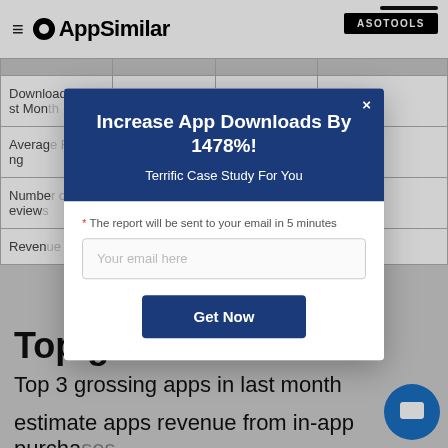AppSimilar | ASOTOOLS
|  |  |  |  |
| --- | --- | --- | --- |
| Download Last Month | <5K | <5K | <5K |
| Average Rating |  |  | .25 |
| Number of Reviews |  |  | 6.08K |
| Revenue |  |  | <5K |
Top g…
Top 3 grossing apps in last month
estimate apps revenue from in-app purchases and price of apps in last month
[Figure (screenshot): Modal popup with dark blue header reading 'Increase App Downloads By 1478%! Terrific Case Study For You', email input field, and Get Now button on white background. Close X button top right.]